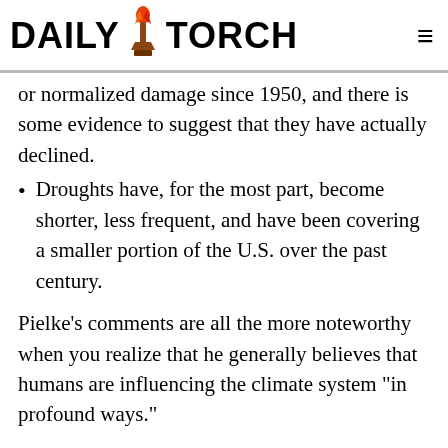DAILY TORCH
or normalized damage since 1950, and there is some evidence to suggest that they have actually declined.
Droughts have, for the most part, become shorter, less frequent, and have been covering a smaller portion of the U.S. over the past century.
Pielke’s comments are all the more noteworthy when you realize that he generally believes that humans are influencing the climate system “in profound ways.”
Last, but surely not least, was Roy Spencer who holds a Ph.D. in Meteorology and has spent his